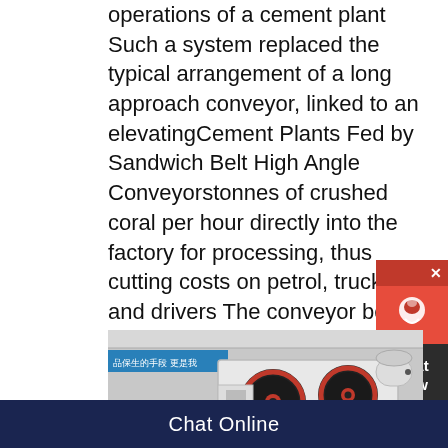operations of a cement plant Such a system replaced the typical arrangement of a long approach conveyor, linked to an elevatingCement Plants Fed by Sandwich Belt High Angle Conveyorstonnes of crushed coral per hour directly into the factory for processing, thus cutting costs on petrol, trucks and drivers The conveyor belt, with its large cement pylons, traversed the hill between Darra and the river at Seventeen Mile Rocks and quickly became a well known feature on the landscape The conveyor belt was aQueensland Cement and Lime Company Conveyor Belt
[Figure (photo): Industrial jaw crusher machine with large black and red flywheels, photographed in a factory setting with Chinese text banner visible in the background.]
Chat Online